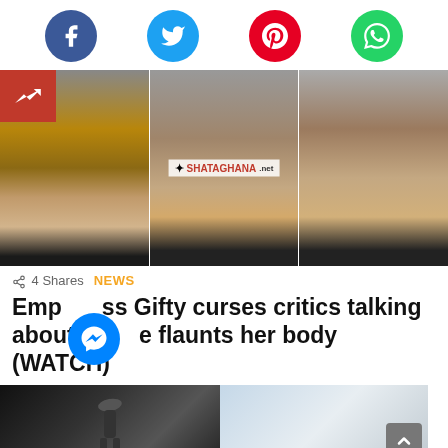[Figure (illustration): Row of four social media share buttons: Facebook (blue), Twitter (blue), Pinterest (red), WhatsApp (green)]
[Figure (photo): Three side-by-side video stills showing Empress Gifty's face in close-up; center frame has a SHATAGHANA.net watermark; red trending badge in top-left corner]
4 Shares
NEWS
Empress Gifty curses critics talking about her and flaunts her body (WATCH)
[Figure (photo): Two thumbnail images at the bottom: left shows a performer on stage in a hat, right shows a woman with wind-blown hair]